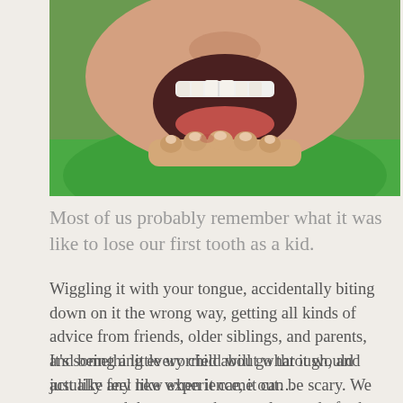[Figure (photo): Close-up photo of a child opening their mouth wide, showing teeth, with fingers pulling down the lower lip/jaw to reveal the teeth and gums. The child is wearing a green shirt.]
Most of us probably remember what it was like to lose our first tooth as a kid.
Wiggling it with your tongue, accidentally biting down on it the wrong way, getting all kinds of advice from friends, older siblings, and parents, and being a little worried about what it would actually feel like when it came out…
It's something every child will go through, and just like any new experience, it can be scary. We recommend that parents have a plan ready for how to help their kids